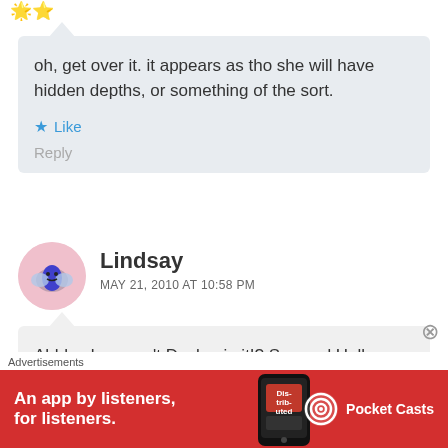oh, get over it. it appears as tho she will have hidden depths, or something of the sort.
Like
Reply
Lindsay
MAY 21, 2010 AT 10:58 PM
Ahhh why wasn't Declan in it!? Sav and Holly
!l?l?l? I love Holly J and Declan!
Advertisements
An app by listeners, for listeners.
[Figure (logo): Pocket Casts advertisement banner with red background, phone image, and Pocket Casts logo]